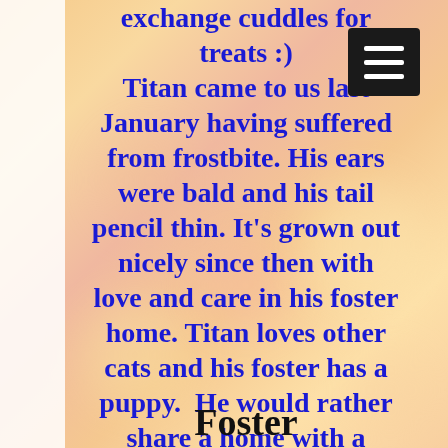exchange cuddles for treats :) Titan came to us last January having suffered from frostbite. His ears were bald and his tail pencil thin. It's grown out nicely since then with love and care in his foster home. Titan loves other cats and his foster has a puppy. He would rather share a home with a calmer dog.
Foster